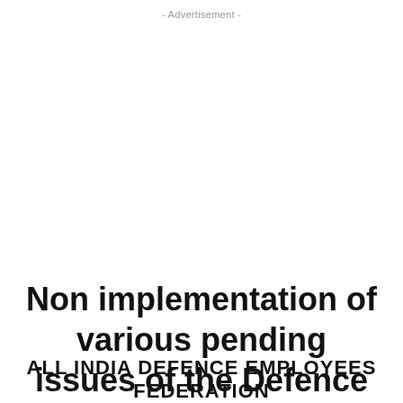- Advertisement -
Non implementation of various pending issues of the Defence Civilian Employees
ALL INDIA DEFENCE EMPLOYEES FEDERATION